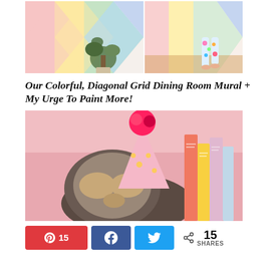[Figure (photo): Two photos side by side: left shows a colorful diagonal grid wall mural with a plant in front; right shows someone walking in colorful pajamas past the same mural]
Our Colorful, Diagonal Grid Dining Room Mural + My Urge To Paint More!
[Figure (photo): A stuffed sloth toy wearing a pink party hat with a red pom-pom, next to colorful books, on a pink background]
A 15 SHARES (social share bar with Pinterest, Facebook, Twitter buttons)